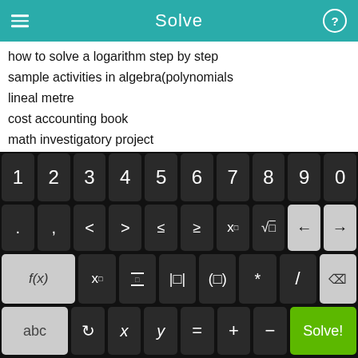Solve
how to solve a logarithm step by step
sample activities in algebra(polynomials
lineal metre
cost accounting book
math investigatory project
calculating volume maths worksheets
Elementary and intermediate algebra ebook
math poems about exponential function
free e-books for download on appitude
ti 83 rationalize the denominator
[Figure (screenshot): Mobile math solver keyboard with numeric keys 1-9,0, symbol keys including < > ≤ ≥ x^□ √□ and backspace/forward arrows, function keys f(x) x□ fraction absolute-value parentheses * / delete, and bottom row abc ↺ x y = + − and green Solve! button]